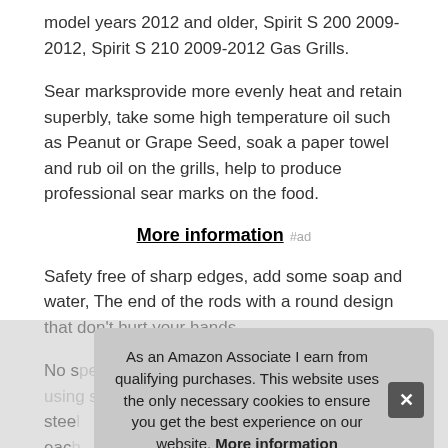model years 2012 and older, Spirit S 200 2009-2012, Spirit S 210 2009-2012 Gas Grills.
Sear marksprovide more evenly heat and retain superbly, take some high temperature oil such as Peanut or Grape Seed, soak a paper towel and rub oil on the grills, help to produce professional sear marks on the food.
More information #ad
Safety free of sharp edges, add some soap and water, The end of the rods with a round design that don't hurt your hands.
No special tool required. Easy to clean/just using stainless steel... each... app... burr... quality stainless steel cooking grates, corrosion resistance.
As an Amazon Associate I earn from qualifying purchases. This website uses the only necessary cookies to ensure you get the best experience on our website. More information